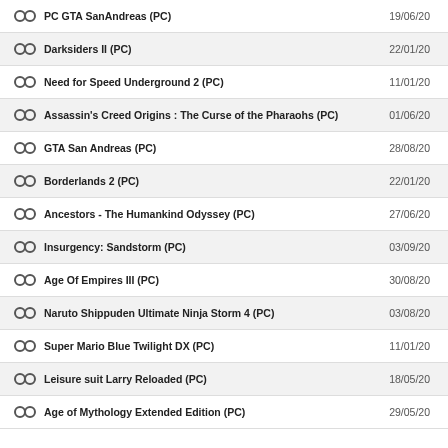PC GTA SanAndreas (PC) — 19/06/20
Darksiders II (PC) — 22/01/20
Need for Speed Underground 2 (PC) — 11/01/20
Assassin's Creed Origins : The Curse of the Pharaohs (PC) — 01/06/20
GTA San Andreas (PC) — 28/08/20
Borderlands 2 (PC) — 22/01/20
Ancestors - The Humankind Odyssey (PC) — 27/06/20
Insurgency: Sandstorm (PC) — 03/09/20
Age Of Empires III (PC) — 30/08/20
Naruto Shippuden Ultimate Ninja Storm 4 (PC) — 03/08/20
Super Mario Blue Twilight DX (PC) — 11/01/20
Leisure suit Larry Reloaded (PC) — 18/05/20
Age of Mythology Extended Edition (PC) — 29/05/20